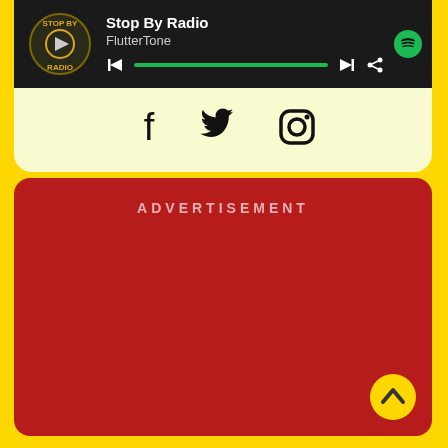[Figure (screenshot): Spotify-style music player bar showing 'Stop By Radio' track by FlutterTone with playback controls and progress bar]
[Figure (infographic): Social media icons row: Facebook, Twitter, Instagram]
ADVERTISEMENT
[Figure (infographic): Yellow circular scroll-to-top button with chevron/caret up icon]